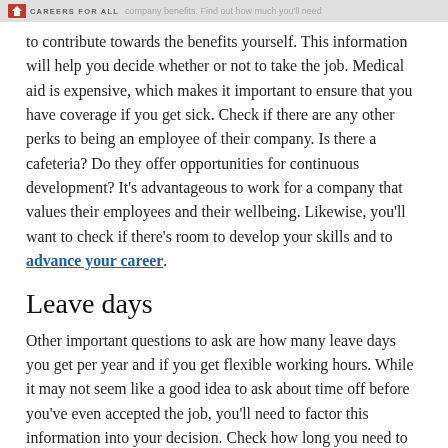CAREERS FOR ALL  company benefits. Find out how much you'll need to contribute towards the benefits yourself.
to contribute towards the benefits yourself. This information will help you decide whether or not to take the job. Medical aid is expensive, which makes it important to ensure that you have coverage if you get sick. Check if there are any other perks to being an employee of their company. Is there a cafeteria? Do they offer opportunities for continuous development? It's advantageous to work for a company that values their employees and their wellbeing. Likewise, you'll want to check if there's room to develop your skills and to advance your career.
Leave days
Other important questions to ask are how many leave days you get per year and if you get flexible working hours. While it may not seem like a good idea to ask about time off before you've even accepted the job, you'll need to factor this information into your decision. Check how long you need to work for them before you're eligible for leave and whether